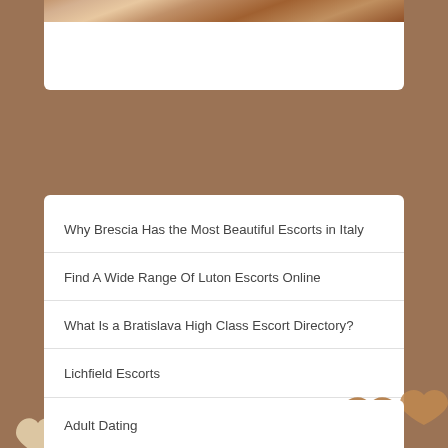[Figure (photo): Partial view of a person lying on a bed, brown tones, top portion of a white card]
Why Brescia Has the Most Beautiful Escorts in Italy
Find A Wide Range Of Luton Escorts Online
What Is a Bratislava High Class Escort Directory?
Lichfield Escorts
High Class Coventry Escort Girls
[Figure (illustration): Decorative heart shapes in cream/beige and brown tones scattered on brown background]
Adult Dating